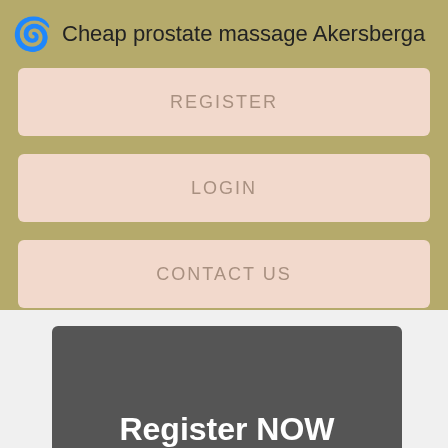Cheap prostate massage Akersberga
REGISTER
LOGIN
CONTACT US
Register NOW for Instant Access